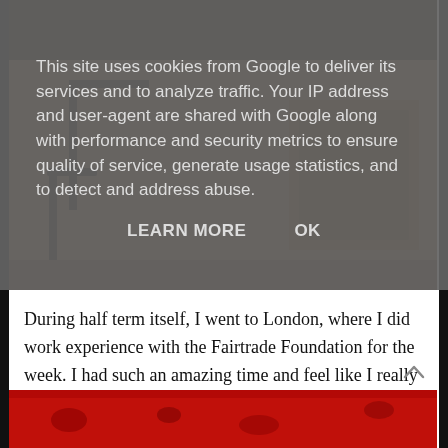This site uses cookies from Google to deliver its services and to analyze traffic. Your IP address and user-agent are shared with Google along with performance and security metrics to ensure quality of service, generate usage statistics, and to detect and address abuse.
LEARN MORE   OK
[Figure (photo): Interior photo showing chairs and wooden floor in a room]
During half term itself, I went to London, where I did work experience with the Fairtrade Foundation for the week. I had such an amazing time and feel like I really accomplished something. I’ve only been back for 3 days and I miss London so much already. Take me back there!
[Figure (photo): Partial photo showing a red surface with dark details at the bottom of the page]